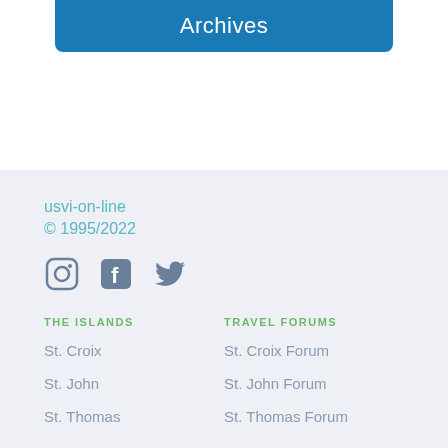Archives
usvi-on-line
© 1995/2022
[Figure (illustration): Social media icons: Instagram, Facebook, Twitter]
THE ISLANDS
TRAVEL FORUMS
St. Croix
St. Croix Forum
St. John
St. John Forum
St. Thomas
St. Thomas Forum